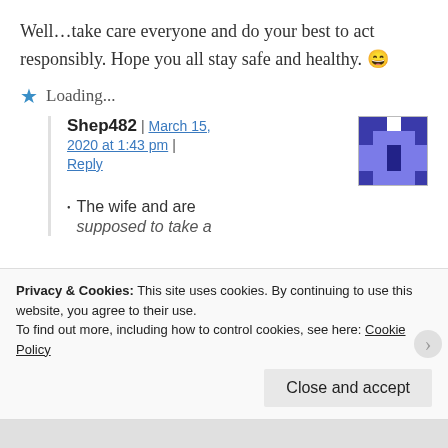Well…take care everyone and do your best to act responsibly. Hope you all stay safe and healthy. 😄
★ Loading...
Shep482 | March 15, 2020 at 1:43 pm | Reply
[Figure (illustration): Pixel avatar image — blue and purple geometric pattern on white background]
The wife and are supposed to take a
Privacy & Cookies: This site uses cookies. By continuing to use this website, you agree to their use. To find out more, including how to control cookies, see here: Cookie Policy
Close and accept